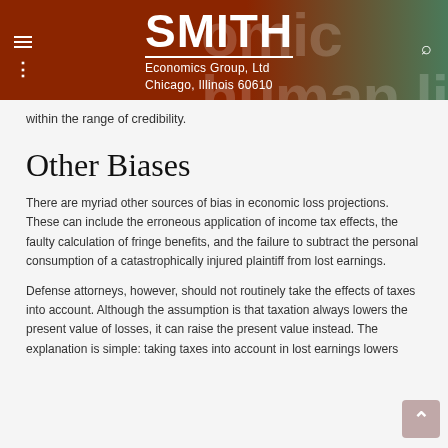SMITH Economics Group, Ltd — Chicago, Illinois 60610
within the range of credibility.
Other Biases
There are myriad other sources of bias in economic loss projections. These can include the erroneous application of income tax effects, the faulty calculation of fringe benefits, and the failure to subtract the personal consumption of a catastrophically injured plaintiff from lost earnings.
Defense attorneys, however, should not routinely take the effects of taxes into account. Although the assumption is that taxation always lowers the present value of losses, it can raise the present value instead. The explanation is simple: taking taxes into account in lost earnings lowers